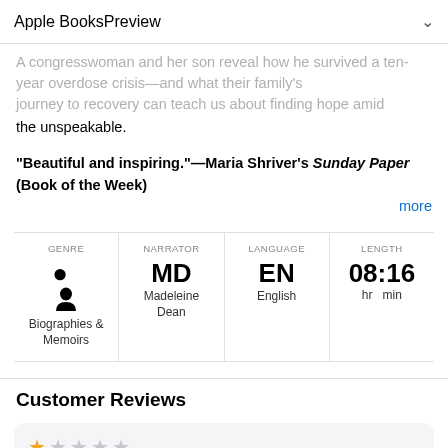Apple Books Preview
A congresswoman and her son reveal how he survived a ten-year overdose crisis—and what their family's journey to recovery can teach us about finding hope amid the unspeakable.
"Beautiful and inspiring."—Maria Shriver's Sunday Paper (Book of the Week)
more
| GENRE | NARRATOR | LANGUAGE | LENGTH |
| --- | --- | --- | --- |
| Biographies & Memoirs | MD Madeleine Dean | EN English | 08:16 hr min |
Customer Reviews
59undone, 03/03/2021
Sorry
I hadn't read a non-fiction narrative or similar and it...